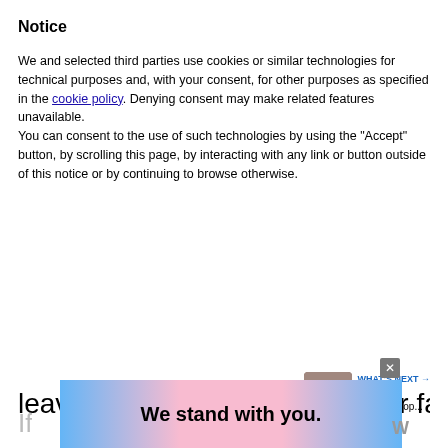Notice
We and selected third parties use cookies or similar technologies for technical purposes and, with your consent, for other purposes as specified in the cookie policy. Denying consent may make related features unavailable.
You can consent to the use of such technologies by using the “Accept” button, by scrolling this page, by interacting with any link or button outside of this notice or by continuing to browse otherwise.
[Figure (infographic): Reject and Accept buttons (blue pill-shaped), Learn more and customize button (gray pill-shaped), heart icon button (teal circle) with count 11, share icon button]
leave or wish to travel with their family.
[Figure (infographic): WHAT'S NEXT arrow label with thumbnail image and text: 4 Ways to Travel Europ...]
[Figure (infographic): Ad banner: We stand with you. with blue and pink gradient background and close X button]